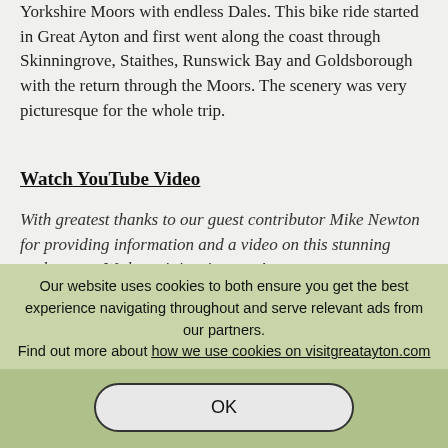Yorkshire Moors with endless Dales. This bike ride started in Great Ayton and first went along the coast through Skinningrove, Staithes, Runswick Bay and Goldsborough with the return through the Moors. The scenery was very picturesque for the whole trip.
Watch YouTube Video
With greatest thanks to our guest contributor Mike Newton for providing information and a video on this stunning cycle route. We hope it inspires you!
Our website uses cookies to both ensure you get the best experience navigating throughout and serve relevant ads from our partners. Find out more about how we use cookies on visitgreatayton.com
OK